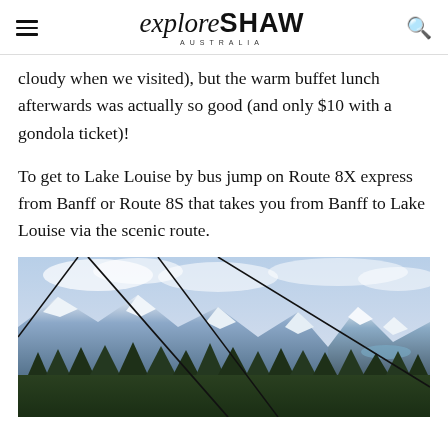exploreSHAW AUSTRALIA
cloudy when we visited), but the warm buffet lunch afterwards was actually so good (and only $10 with a gondola ticket)!
To get to Lake Louise by bus jump on Route 8X express from Banff or Route 8S that takes you from Banff to Lake Louise via the scenic route.
[Figure (photo): View from gondola of snow-capped Rocky Mountains with gondola cables visible in foreground, blue sky with light clouds, evergreen trees at base]